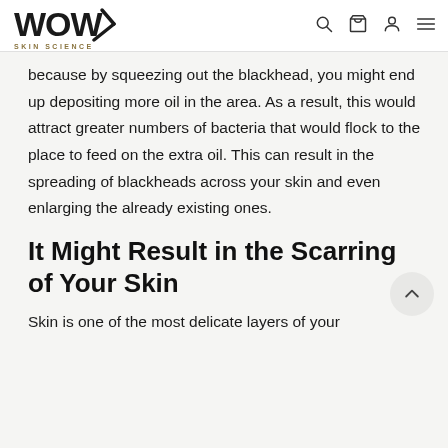WOW SKIN SCIENCE
because by squeezing out the blackhead, you might end up depositing more oil in the area. As a result, this would attract greater numbers of bacteria that would flock to the place to feed on the extra oil. This can result in the spreading of blackheads across your skin and even enlarging the already existing ones.
It Might Result in the Scarring of Your Skin
Skin is one of the most delicate layers of your